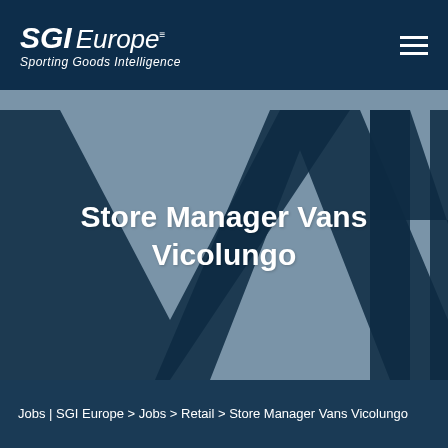SGI Europe™ Sporting Goods Intelligence
[Figure (logo): Vans brand logo (large 'VANS' lettering in dark navy) overlaid on a steel-blue/grey background, serving as a hero image for the job listing page.]
Store Manager Vans Vicolungo
Jobs | SGI Europe > Jobs > Retail > Store Manager Vans Vicolungo